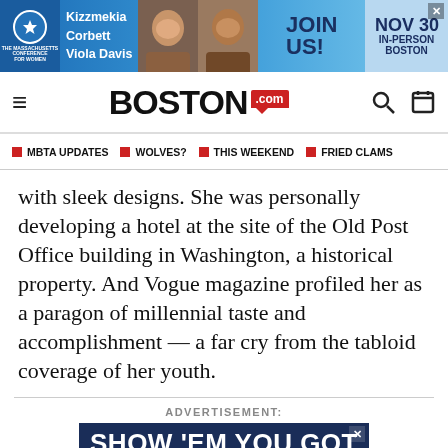[Figure (screenshot): Top advertisement banner for Massachusetts Conference for Women featuring Kizzmekia Corbett and Viola Davis with 'JOIN US! NOV 30 IN-PERSON BOSTON' text on a blue background]
[Figure (logo): Boston.com navigation bar logo with hamburger menu on left and search/calendar icons on right]
MBTA UPDATES   WOLVES?   THIS WEEKEND   FRIED CLAMS
with sleek designs. She was personally developing a hotel at the site of the Old Post Office building in Washington, a historical property. And Vogue magazine profiled her as a paragon of millennial taste and accomplishment — a far cry from the tabloid coverage of her youth.
ADVERTISEMENT:
[Figure (screenshot): Bottom advertisement banner with dark navy blue background and white bold text reading 'SHOW 'EM YOU GOT A BOSTON DOMAIN']